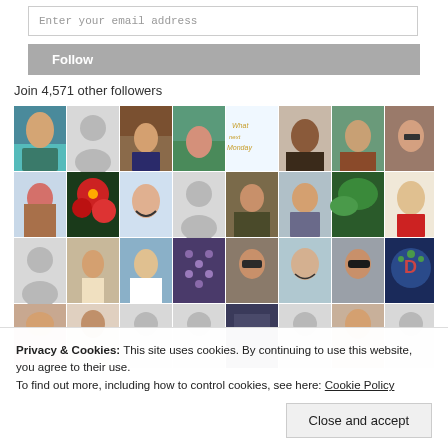Enter your email address
Follow
Join 4,571 other followers
[Figure (photo): Grid of follower avatar thumbnails showing profile photos and placeholder silhouettes arranged in 4 rows of 8 columns]
Privacy & Cookies: This site uses cookies. By continuing to use this website, you agree to their use.
To find out more, including how to control cookies, see here: Cookie Policy
Close and accept